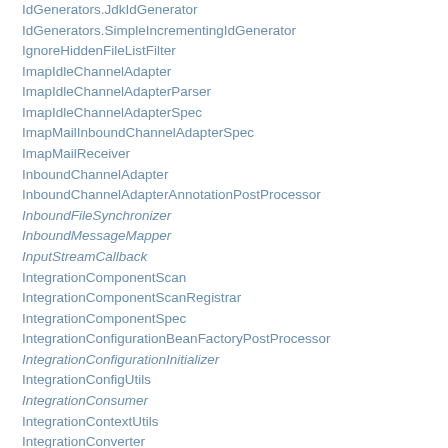IdGenerators.JdkIdGenerator
IdGenerators.SimpleIncrementingIdGenerator
IgnoreHiddenFileListFilter
ImapIdleChannelAdapter
ImapIdleChannelAdapterParser
ImapIdleChannelAdapterSpec
ImapMailInboundChannelAdapterSpec
ImapMailReceiver
InboundChannelAdapter
InboundChannelAdapterAnnotationPostProcessor
InboundFileSynchronizer
InboundMessageMapper
InputStreamCallback
IntegrationComponentScan
IntegrationComponentScanRegistrar
IntegrationComponentSpec
IntegrationConfigurationBeanFactoryPostProcessor
IntegrationConfigurationInitializer
IntegrationConfigUtils
IntegrationConsumer
IntegrationContextUtils
IntegrationConverter
IntegrationConverterInitializer
IntegrationEvaluationContextFactoryBean
IntegrationEvent
IntegrationFlow
IntegrationFlowAdapter
IntegrationFlowBeanPostProcessor